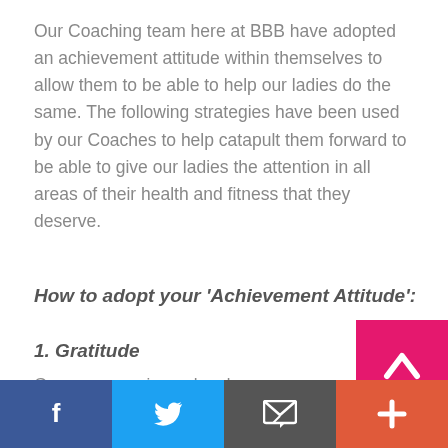Our Coaching team here at BBB have adopted an achievement attitude within themselves to allow them to be able to help our ladies do the same. The following strategies have been used by our Coaches to help catapult them forward to be able to give our ladies the attention in all areas of their health and fitness that they deserve.
How to adopt your 'Achievement Attitude':
1. Gratitude
Get a journal and a pen.
[Figure (screenshot): Shopping cart widget overlay with purple background, badge showing 0, cart icon. Scroll-up pink button with chevron icon. Social sharing bar at bottom with Facebook, Twitter, email, and plus buttons.]